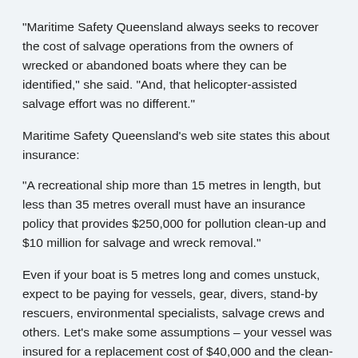“Maritime Safety Queensland always seeks to recover the cost of salvage operations from the owners of wrecked or abandoned boats where they can be identified,” she said. “And, that helicopter-assisted salvage effort was no different.”
Maritime Safety Queensland’s web site states this about insurance:
“A recreational ship more than 15 metres in length, but less than 35 metres overall must have an insurance policy that provides $250,000 for pollution clean-up and $10 million for salvage and wreck removal.”
Even if your boat is 5 metres long and comes unstuck, expect to be paying for vessels, gear, divers, stand-by rescuers, environmental specialists, salvage crews and others. Let’s make some assumptions – your vessel was insured for a replacement cost of $40,000 and the clean-up bill came to $23,000. If you are properly insured with Nautilus, not a problem. Ordinarily Nautilus would pay the $23,000 clean-up bill and also pay you the $40,000 for the insured vessel.